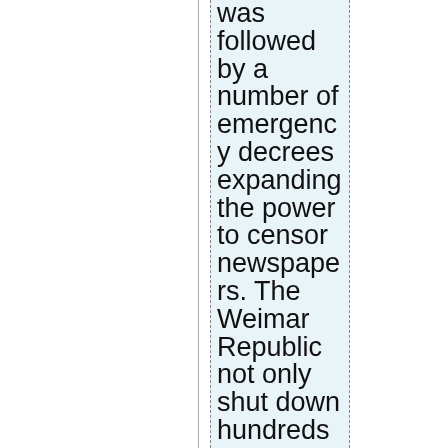was followed by a number of emergency decrees expanding the power to censor newspapers. The Weimar Republic not only shut down hundreds